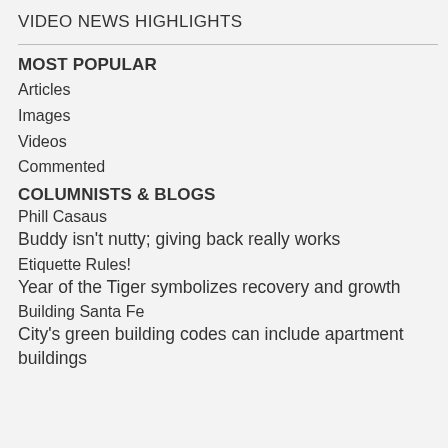VIDEO NEWS HIGHLIGHTS
MOST POPULAR
Articles
Images
Videos
Commented
COLUMNISTS & BLOGS
Phill Casaus
Buddy isn't nutty; giving back really works
Etiquette Rules!
Year of the Tiger symbolizes recovery and growth
Building Santa Fe
City's green building codes can include apartment buildings